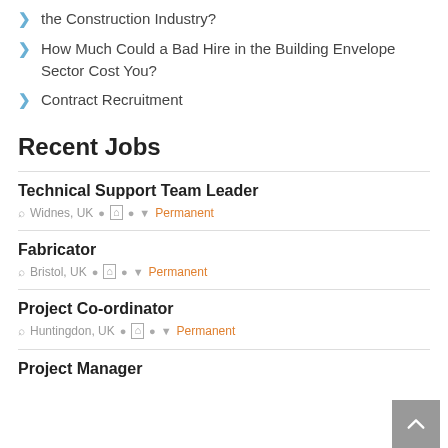the Construction Industry?
How Much Could a Bad Hire in the Building Envelope Sector Cost You?
Contract Recruitment
Recent Jobs
Technical Support Team Leader — Widnes, UK • Permanent
Fabricator — Bristol, UK • Permanent
Project Co-ordinator — Huntingdon, UK • Permanent
Project Manager